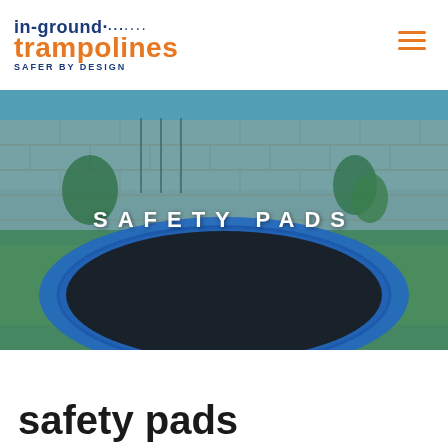in-ground trampolines SAFER BY DESIGN
[Figure (photo): An in-ground trampoline with a blue safety pad border installed in a backyard with green grass, trees, and a concrete block wall in the background. The image has a teal/blue color overlay. The text 'SAFETY PADS' is overlaid in white capital letters with wide letter spacing.]
safety pads